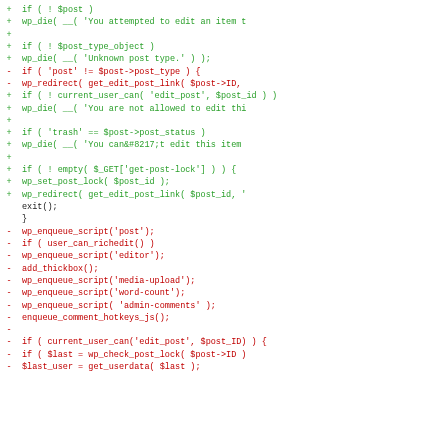[Figure (other): Code diff showing PHP source code changes. Green lines with '+' markers are additions, red lines with '-' markers are deletions, and unmarkerd lines are context. The code relates to WordPress post editing functions including permission checks, post lock, and script enqueueing.]